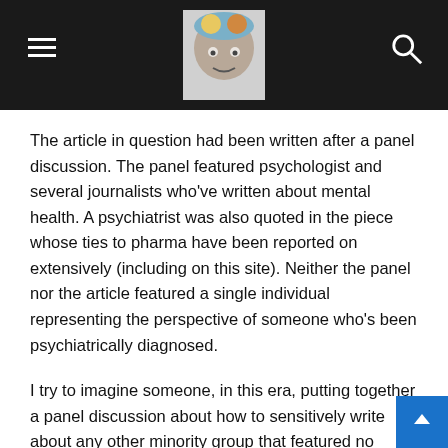[Navigation header with hamburger menu, site logo, and search icon]
The article in question had been written after a panel discussion. The panel featured psychologist and several journalists who've written about mental health. A psychiatrist was also quoted in the piece whose ties to pharma have been reported on extensively (including on this site). Neither the panel nor the article featured a single individual representing the perspective of someone who's been psychiatrically diagnosed.
I try to imagine someone, in this era, putting together a panel discussion about how to sensitively write about any other minority group that featured no individuals representing the group in question. And I don't mean to say, with certainty, none of the individuals quoted in that piece haven't been d